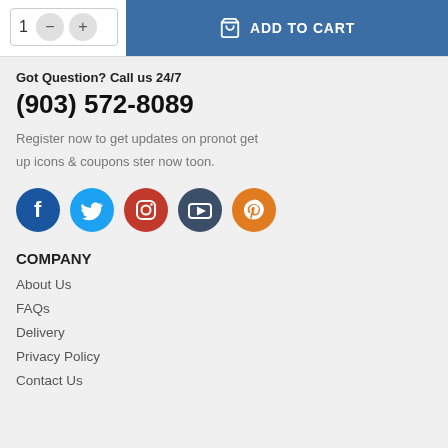[Figure (screenshot): Add to cart UI with quantity selector (showing 1, minus and plus buttons) and a blue ADD TO CART button with shopping bag icon]
Got Question? Call us 24/7
(903) 572-8089
Register now to get updates on pronot get up icons & coupons ster now toon.
[Figure (illustration): Five social media circular icons: Facebook (dark blue), Twitter (light blue), Instagram (red), YouTube (dark blue/slate), Pinterest (orange)]
COMPANY
About Us
FAQs
Delivery
Privacy Policy
Contact Us